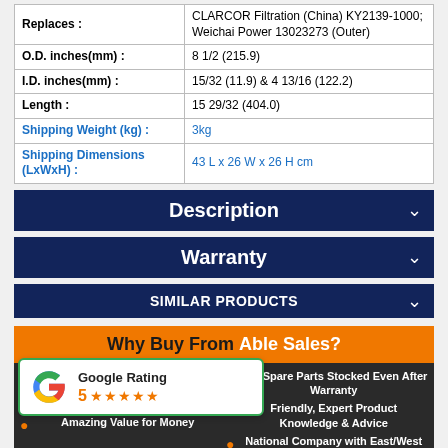|  |  |
| --- | --- |
| Replaces : | CLARCOR Filtration (China) KY2139-1000; Weichai Power 13023273 (Outer) |
| O.D. inches(mm) : | 8 1/2 (215.9) |
| I.D. inches(mm) : | 15/32 (11.9) & 4 13/16 (122.2) |
| Length : | 15 29/32 (404.0) |
| Shipping Weight (kg) : | 3kg |
| Shipping Dimensions (LxWxH) : | 43 L x 26 W x 26 H cm |
Description
Warranty
SIMILAR PRODUCTS
Why Buy From Able Sales?
Best Prices Australia
Full Spare Parts Stocked Even After Warranty
Proof of
Friendly, Expert Product Knowledge & Advice
Amazing Value for Money
National Company with East/West Branches
[Figure (infographic): Google Rating card showing rating of 5 stars with Google logo]